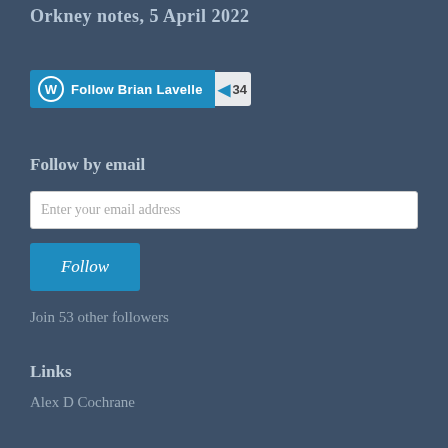Orkney notes, 5 April 2022
Follow Brian Lavelle   34
Follow by email
Enter your email address
Follow
Join 53 other followers
Links
Alex D Cochrane